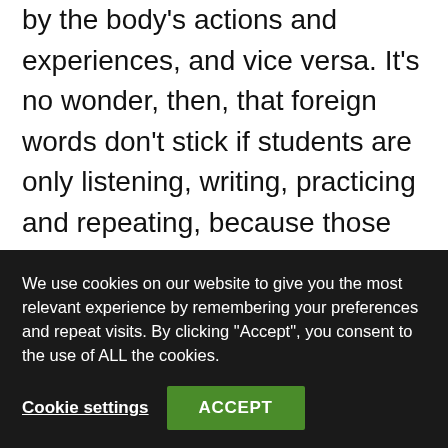by the body's actions and experiences, and vice versa. It's no wonder, then, that foreign words don't stick if students are only listening, writing, practicing and repeating, because those verbal experiences are stripped of their sensory associations.
Macedonia has found that learners who reinforce new words by performing semantically related
We use cookies on our website to give you the most relevant experience by remembering your preferences and repeat visits. By clicking "Accept", you consent to the use of ALL the cookies.
Cookie settings
ACCEPT